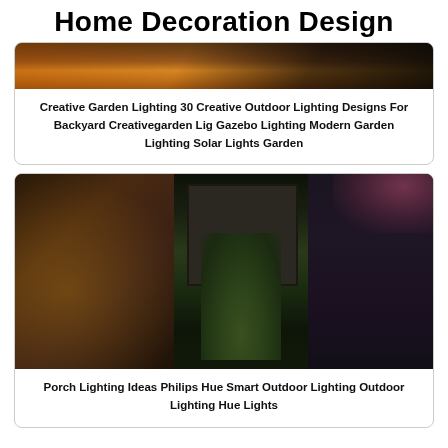Home Decoration Design
[Figure (photo): Outdoor garden scene with warm orange/amber lighting at night]
Creative Garden Lighting 30 Creative Outdoor Lighting Designs For Backyard Creativegarden Lig Gazebo Lighting Modern Garden Lighting Solar Lights Garden
[Figure (photo): Indoor dark moody scene with potted plants, a framed window, and colored smart lighting (pink/purple accent light), with firewood stacked below shelving]
Porch Lighting Ideas Philips Hue Smart Outdoor Lighting Outdoor Lighting Hue Lights